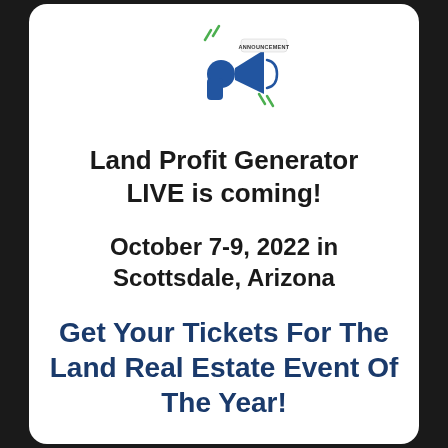[Figure (illustration): Megaphone/announcement emoji icon with green lightning bolts and 'ANNOUNCEMENT' text label on a banner]
Land Profit Generator LIVE is coming!
October 7-9, 2022 in Scottsdale, Arizona
Get Your Tickets For The Land Real Estate Event Of The Year!